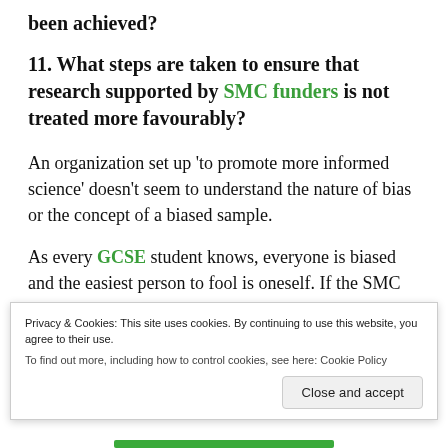been achieved?
11. What steps are taken to ensure that research supported by SMC funders is not treated more favourably?
An organization set up 'to promote more informed science' doesn't seem to understand the nature of bias or the concept of a biased sample.
As every GCSE student knows, everyone is biased and the easiest person to fool is oneself. If the SMC were serious about avoiding bias, then it would
Privacy & Cookies: This site uses cookies. By continuing to use this website, you agree to their use. To find out more, including how to control cookies, see here: Cookie Policy
Close and accept